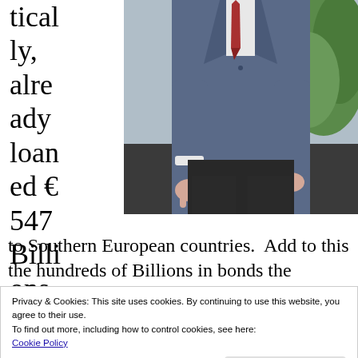tically, already loaned €547 Billions
[Figure (photo): Man in blue suit walking, partial view from shoulders to knees, red tie, green plant in background]
to Southern European countries.  Add to this the hundreds of Billions in bonds the European
Privacy & Cookies: This site uses cookies. By continuing to use this website, you agree to their use.
To find out more, including how to control cookies, see here:
Cookie Policy
Close and accept
for the EC budget, year by year, to aid moneys